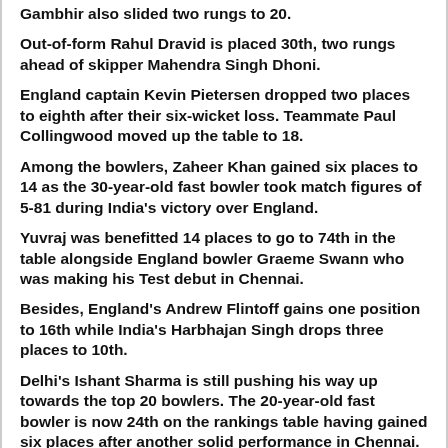Gambhir also slided two rungs to 20.
Out-of-form Rahul Dravid is placed 30th, two rungs ahead of skipper Mahendra Singh Dhoni.
England captain Kevin Pietersen dropped two places to eighth after their six-wicket loss. Teammate Paul Collingwood moved up the table to 18.
Among the bowlers, Zaheer Khan gained six places to 14 as the 30-year-old fast bowler took match figures of 5-81 during India's victory over England.
Yuvraj was benefitted 14 places to go to 74th in the table alongside England bowler Graeme Swann who was making his Test debut in Chennai.
Besides, England's Andrew Flintoff gains one position to 16th while India's Harbhajan Singh drops three places to 10th.
Delhi's Ishant Sharma is still pushing his way up towards the top 20 bowlers. The 20-year-old fast bowler is now 24th on the rankings table having gained six places after another solid performance in Chennai.
While Today's conventional batting standards…